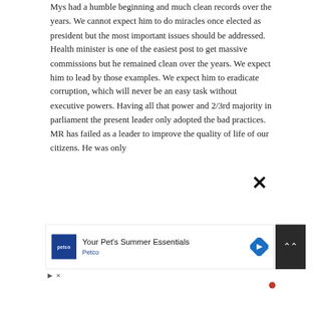Mys had a humble beginning and much clean records over the years. We cannot expect him to do miracles once elected as president but the most important issues should be addressed. Health minister is one of the easiest post to get massive commissions but he remained clean over the years. We expect him to lead by those examples. We expect him to eradicate corruption, which will never be an easy task without executive powers. Having all that power and 2/3rd majority in parliament the present leader only adopted the bad practices. MR has failed as a leader to improve the quality of life of our citizens. He was only
[Figure (other): Advertisement banner for Petco - Your Pet's Summer Essentials, with Petco logo, headline text, and a navigation arrow icon. Below the banner are playback and close controls, and a red dot.]